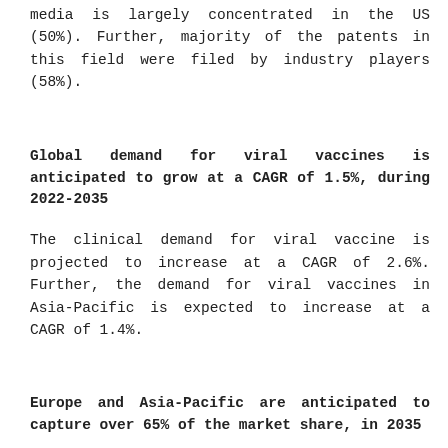media is largely concentrated in the US (50%). Further, majority of the patents in this field were filed by industry players (58%).
Global demand for viral vaccines is anticipated to grow at a CAGR of 1.5%, during 2022-2035
The clinical demand for viral vaccine is projected to increase at a CAGR of 2.6%. Further, the demand for viral vaccines in Asia-Pacific is expected to increase at a CAGR of 1.4%.
Europe and Asia-Pacific are anticipated to capture over 65% of the market share, in 2035
In terms of type of cell culture, the current market is driven by suspension cell cultures (65%); this trend is